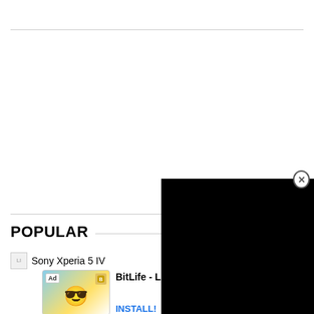[Figure (screenshot): Horizontal rule divider line near top of page]
[Figure (screenshot): Horizontal rule divider line in mid-page area]
POPULAR
[Figure (screenshot): Small thumbnail image placeholder next to Sony Xperia 5 IV text]
Sony Xperia 5 IV
[Figure (screenshot): BitLife - Life Simulator advertisement with Ad badge, game character image, and INSTALL! button]
BitLife - Life Simulator
INSTALL!
[Figure (screenshot): Black video player overlay in bottom-right area of the page]
[Figure (screenshot): Close button (X in circle) for the video overlay]